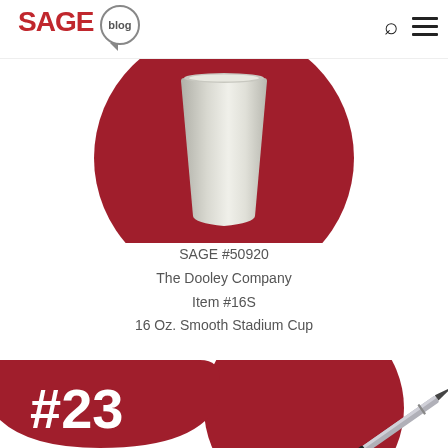[Figure (logo): SAGE blog logo with red SAGE text and speech bubble containing 'blog']
[Figure (photo): 16 Oz. Smooth Stadium Cup (stainless steel look) displayed on a dark red circle background]
SAGE #50920
The Dooley Company
Item #16S
16 Oz. Smooth Stadium Cup
[Figure (infographic): #23 ranking badge as a dark red teardrop/circle shape with white bold text '#23', and a stylus/pen product partially visible on a red circle below]